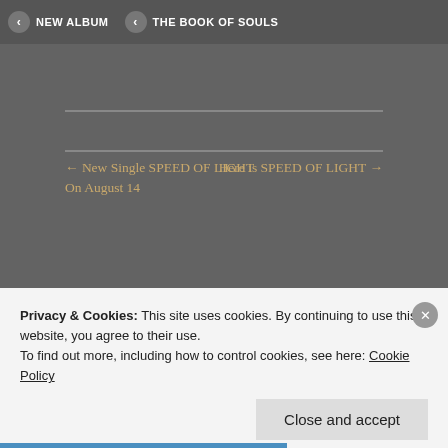NEW ALBUM   THE BOOK OF SOULS
← New Single SPEED OF LIGHT On August 14
Here is SPEED OF LIGHT →
2 thoughts on “Gers and
Privacy & Cookies: This site uses cookies. By continuing to use this website, you agree to their use.
To find out more, including how to control cookies, see here: Cookie Policy
Close and accept